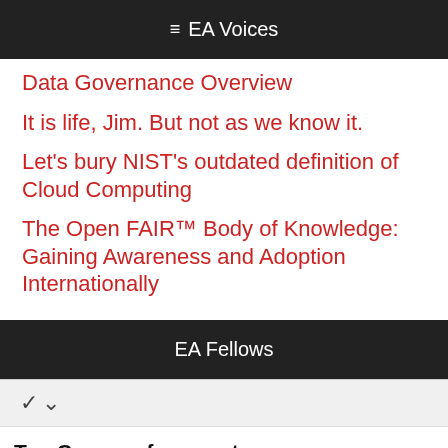≡ EA Voices
Data Governance Overview
It is life, Jim. But not as we know it.
Let's bury NIST's outdated definition of Cloud Computing
The Open FAIR™ Body of Knowledge: Gaining Awareness and Adoption Internationally
EA Fellows
∨
Top Courses for your team - Learn HTML | JavaScript
Access range of technology courses to upskill your team in one simple subscription. ready.go1.com
OPEN